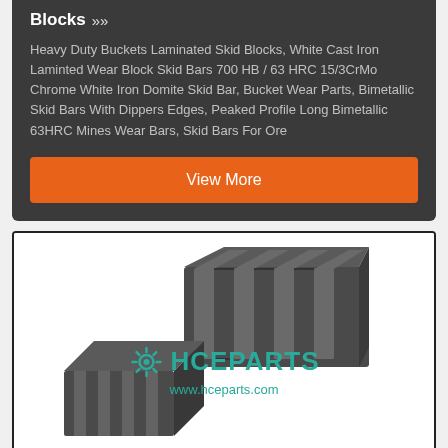Blocks »»
Heavy Duty Buckets Laminated Skid Blocks, White Cast Iron Laminted Wear Block Skid Bars 700 HB / 63 HRC 15/3CrMo Chrome White Iron Domite Skid Bar, Bucket Wear Parts, Bimetallic Skid Bars With Dippers Edges, Peaked Profile Long Bimetallic 63HRC Mines Wear Bars, Skid Bars For Ore
View More
[Figure (photo): Product photo showing two laminated skid blocks - one larger block with parallel ridges viewed from above, and one smaller block viewed at an angle, with HCEPARTS logo and www.hceparts.com watermark overlaid in teal]